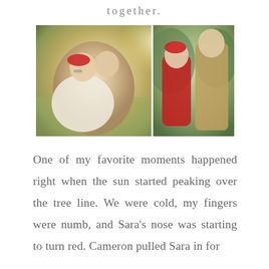together.
[Figure (photo): Two side-by-side outdoor engagement/couple photos. Left photo: a woman with a red beret and glasses wrapped in a white blanket with a man in a tan vest, smiling together in a sunlit field. Right photo: the same couple in an outdoor wooded setting, the woman in a red coat touching her hat and looking at the man in a tan jacket.]
One of my favorite moments happened right when the sun started peaking over the tree line. We were cold, my fingers were numb, and Sara's nose was starting to turn red. Cameron pulled Sara in for